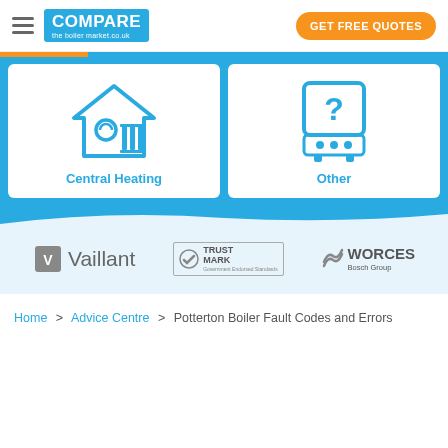[Figure (logo): Compare the Boiler Market logo with hamburger menu icon]
[Figure (logo): GET FREE QUOTES orange button]
[Figure (illustration): Central Heating card with house and radiator icons in blue]
[Figure (illustration): Other card with boiler/question mark icon in blue]
[Figure (logo): Vaillant logo]
[Figure (logo): TrustMark Government Endorsed Standards logo]
[Figure (logo): WORCES Bosch Group logo]
Home > Advice Centre > Potterton Boiler Fault Codes and Errors